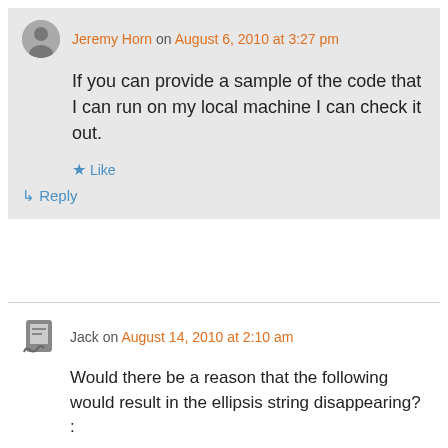Jeremy Horn on August 6, 2010 at 3:27 pm
If you can provide a sample of the code that I can run on my local machine I can check it out.
★ Like
↳ Reply
Jack on August 14, 2010 at 2:10 am
Would there be a reason that the following would result in the ellipsis string disappearing? :
$(".class").ThreeDots();
on certain object hover ->